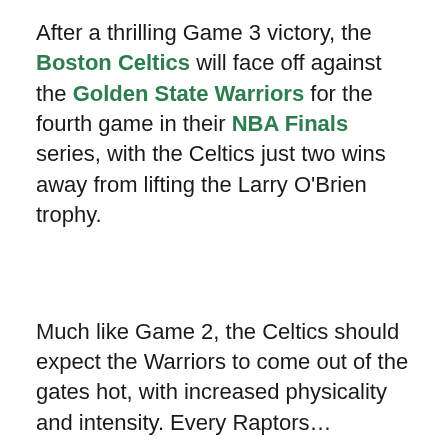After a thrilling Game 3 victory, the Boston Celtics will face off against the Golden State Warriors for the fourth game in their NBA Finals series, with the Celtics just two wins away from lifting the Larry O'Brien trophy.
Much like Game 2, the Celtics should expect the Warriors to come out of the gates hot, with increased physicality and intensity. Every Raptors…